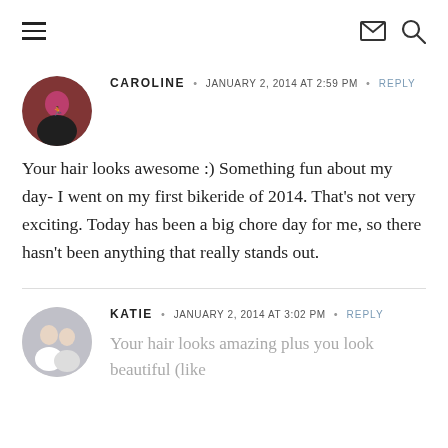Navigation header with hamburger menu, email icon, and search icon
[Figure (photo): Circular avatar photo of Caroline, a person in athletic gear at what appears to be a race]
CAROLINE • JANUARY 2, 2014 AT 2:59 PM • REPLY
Your hair looks awesome :) Something fun about my day- I went on my first bikeride of 2014. That's not very exciting. Today has been a big chore day for me, so there hasn't been anything that really stands out.
[Figure (photo): Circular avatar photo of Katie, showing two people]
KATIE • JANUARY 2, 2014 AT 3:02 PM • REPLY
Your hair looks amazing plus you look beautiful (like